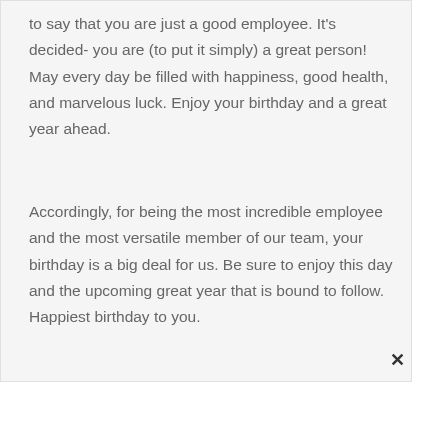to say that you are just a good employee. It's decided- you are (to put it simply) a great person! May every day be filled with happiness, good health, and marvelous luck. Enjoy your birthday and a great year ahead.
Accordingly, for being the most incredible employee and the most versatile member of our team, your birthday is a big deal for us. Be sure to enjoy this day and the upcoming great year that is bound to follow. Happiest birthday to you.